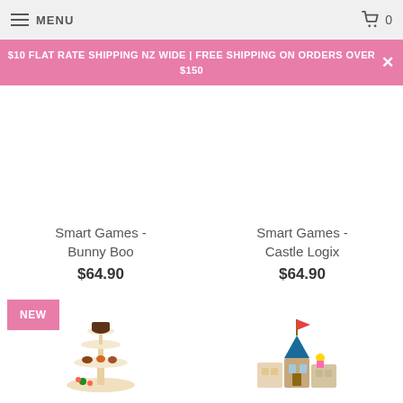MENU | Cart 0
$10 FLAT RATE SHIPPING NZ WIDE | FREE SHIPPING ON ORDERS OVER $150
Smart Games - Bunny Boo $64.90
Smart Games - Castle Logix $64.90
[Figure (photo): Photo of a cake stand toy with chocolate dessert pieces (NEW badge shown)]
[Figure (photo): Photo of colorful toy castle blocks stacked]